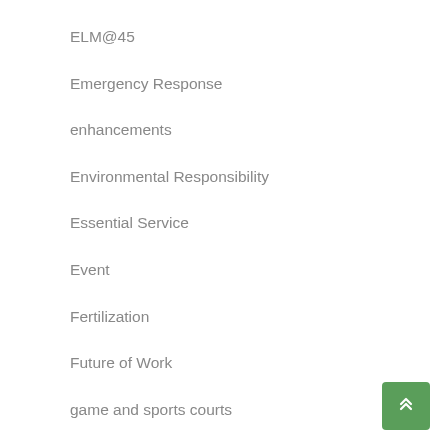ELM@45
Emergency Response
enhancements
Environmental Responsibility
Essential Service
Event
Fertilization
Future of Work
game and sports courts
Great Place to Work
Green Goals
Green Infrastructure